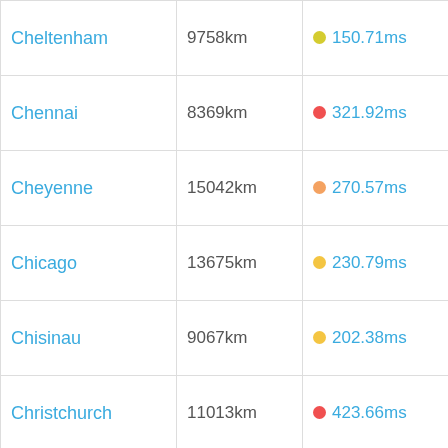| City | Distance | Latency | Score |
| --- | --- | --- | --- |
| Cheltenham | 9758km | 150.71ms | 65.05% |
| Chennai | 8369km | 321.92ms | 26.07% |
| Cheyenne | 15042km | 270.57ms | 55.71% |
| Chicago | 13675km | 230.79ms | 59.46% |
| Chisinau | 9067km | 202.38ms | 44.89% |
| Christchurch | 11013km | 423.66ms | 26.04% |